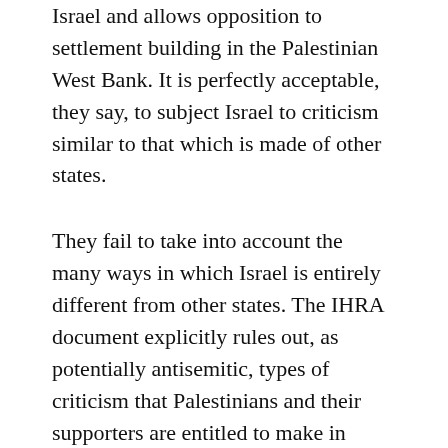Israel and allows opposition to settlement building in the Palestinian West Bank. It is perfectly acceptable, they say, to subject Israel to criticism similar to that which is made of other states.
They fail to take into account the many ways in which Israel is entirely different from other states. The IHRA document explicitly rules out, as potentially antisemitic, types of criticism that Palestinians and their supporters are entitled to make in order to highlight their specific history of dispossession and racist discrimination. The document is already being used in the UK to censor campaigns which call for an end to injustices Palestinians have faced